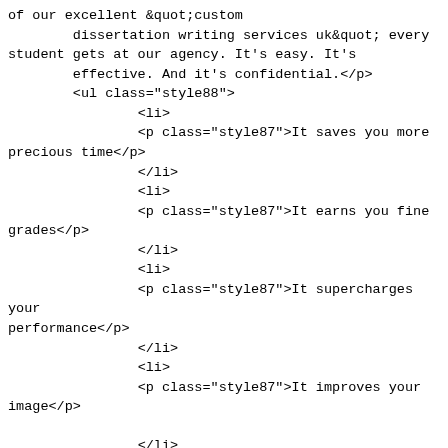of our excellent &quot;custom
        dissertation writing services uk&quot; every
student gets at our agency. It's easy. It's
        effective. And it's confidential.</p>
        <ul class="style88">
                <li>
                <p class="style87">It saves you more
precious time</p>
                </li>
                <li>
                <p class="style87">It earns you fine
grades</p>
                </li>
                <li>
                <p class="style87">It supercharges your
performance</p>
                </li>
                <li>
                <p class="style87">It improves your
image</p>

                </li>
                <li>
                <p class="style87">It helps you
graduating successfully</p>
                </li>
        </ul>
        <p class="style54">You will surely get the most
of what you pay for. We
        ensure that our customers will receive great
results and <strong><em>high